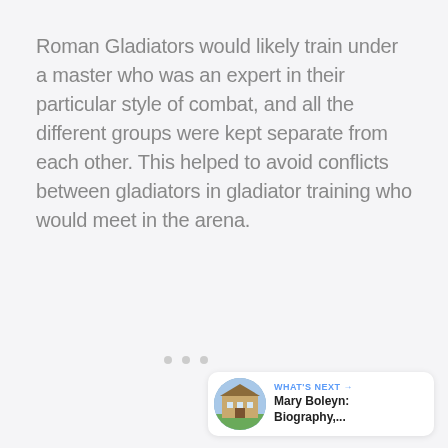Roman Gladiators would likely train under a master who was an expert in their particular style of combat, and all the different groups were kept separate from each other. This helped to avoid conflicts between gladiators in gladiator training who would meet in the arena.
[Figure (other): UI elements: a blue circular like/heart button, a count showing '1', a white circular share button with share icon, three pagination dots, and a 'What's Next' card showing a circular thumbnail of a building with 'Mary Boleyn: Biography,...' text]